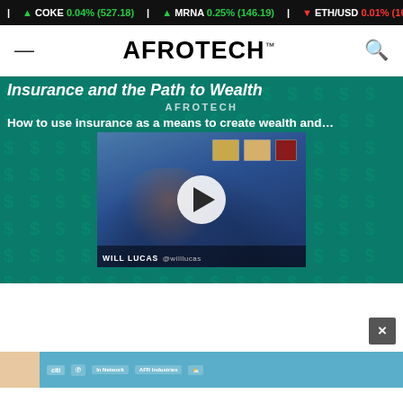▲ COKE 0.04% (527.18) | ▲ MRNA 0.25% (146.19) | ▼ ETH/USD 0.01% (16...)
[Figure (logo): AFROTECH logo with hamburger menu and search icon navigation bar]
Insurance and the Path to Wealth
AFROTECH
How to use insurance as a means to create wealth and...
[Figure (screenshot): Video thumbnail showing Will Lucas (@willlucas) sitting in front of a blue wall with framed certificates, with a white play button overlay. Lower third shows 'WILL LUCAS @willlucas']
[Figure (screenshot): Partial bottom promo strip showing Citi and other sponsor logos with people at an event on a light blue background]